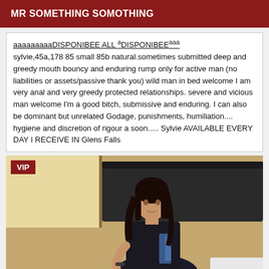MR SOMETHING SOMOTHING
aaaaaaaaaDISPONIBEE ALL aDISPONIBEEaaaa sylvie,45a,178 85 small 85b natural.sometimes submitted deep and greedy mouth bouncy and enduring rump only for active man (no liabilities or assets/passive thank you) wild man in bed welcome I am very anal and very greedy protected relationships. severe and vicious man welcome I'm a good bitch, submissive and enduring. I can also be dominant but unrelated Godage, punishments, humiliation.... hygiene and discretion of rigour a soon..... Sylvie AVAILABLE EVERY DAY I RECEIVE IN Glens Falls
[Figure (photo): Photo of a person with dark hair wearing a dark outfit, seated on a bed with a dark headboard, with a VIP badge overlay in the top-left corner]